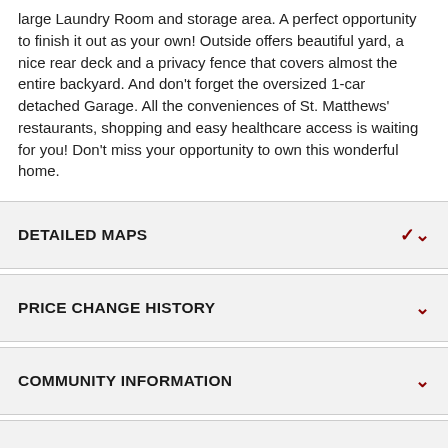large Laundry Room and storage area. A perfect opportunity to finish it out as your own! Outside offers beautiful yard, a nice rear deck and a privacy fence that covers almost the entire backyard. And don't forget the oversized 1-car detached Garage. All the conveniences of St. Matthews' restaurants, shopping and easy healthcare access is waiting for you! Don't miss your opportunity to own this wonderful home.
DETAILED MAPS
PRICE CHANGE HISTORY
COMMUNITY INFORMATION
ARCHITECTURE
FEATURES / AMENITIES
SQUARE FOOTAGE